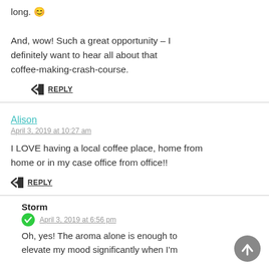long. 😊

And, wow! Such a great opportunity – I definitely want to hear all about that coffee-making-crash-course.
↩ REPLY
Alison
April 3, 2019 at 10:27 am
I LOVE having a local coffee place, home from home or in my case office from office!!
↩ REPLY
Storm
April 3, 2019 at 6:56 pm
Oh, yes! The aroma alone is enough to elevate my mood significantly when I'm